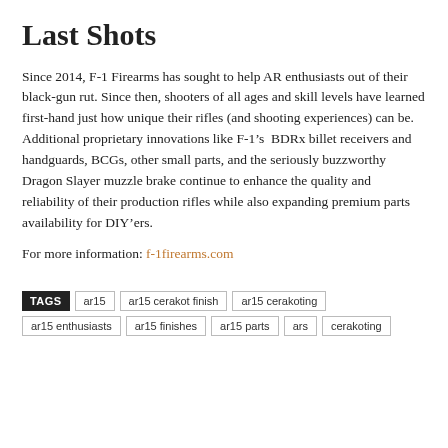Last Shots
Since 2014, F-1 Firearms has sought to help AR enthusiasts out of their black-gun rut. Since then, shooters of all ages and skill levels have learned first-hand just how unique their rifles (and shooting experiences) can be. Additional proprietary innovations like F-1’s  BDRx billet receivers and handguards, BCGs, other small parts, and the seriously buzzworthy Dragon Slayer muzzle brake continue to enhance the quality and reliability of their production rifles while also expanding premium parts availability for DIY’ers.
For more information: f-1firearms.com
TAGS  ar15  ar15 cerakot finish  ar15 cerakoting
ar15 enthusiasts  ar15 finishes  ar15 parts  ars  cerakoting